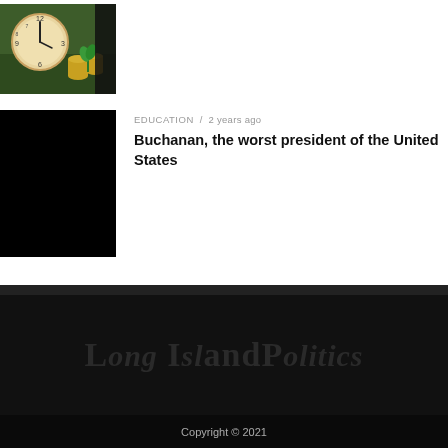[Figure (photo): Thumbnail image of a clock and coins/plants on green background]
[Figure (photo): Black thumbnail image for Buchanan article]
EDUCATION / 2 years ago
Buchanan, the worst president of the United States
[Figure (logo): Long Island Politics logo in dark serif font on black background]
Copyright © 2021